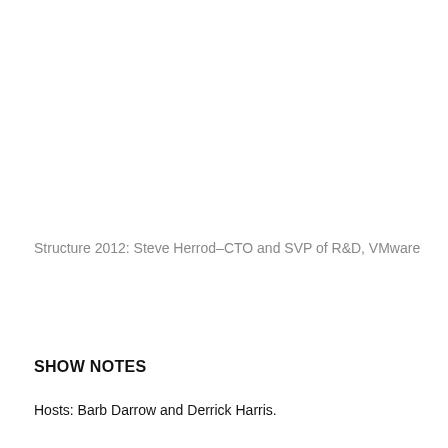Structure 2012: Steve Herrod–CTO and SVP of R&D, VMware
SHOW NOTES
Hosts: Barb Darrow and Derrick Harris.